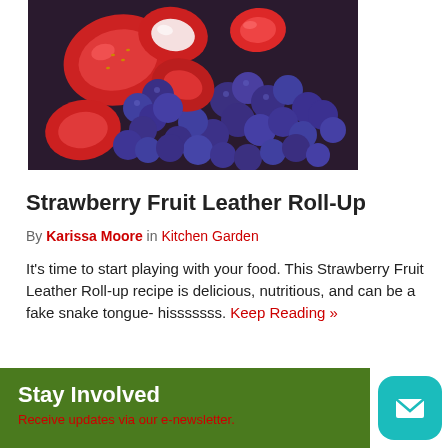[Figure (photo): Close-up photo of fresh strawberries and blueberries mixed together]
Strawberry Fruit Leather Roll-Up
By Karissa Moore in Kitchen Garden
It's time to start playing with your food. This Strawberry Fruit Leather Roll-up recipe is delicious, nutritious, and can be a fake snake tongue- hisssssss. Keep Reading »
← Older posts
Stay Involved
Receive updates via our e-newsletter.